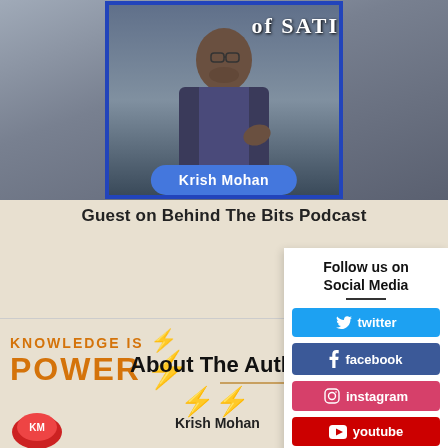[Figure (photo): Photo of Krish Mohan standing at a podium/stage with blue border frame, and a name badge reading 'Krish Mohan' in blue oval at the bottom. Text 'of SATI' visible in background signage.]
Guest on Behind The Bits Podcast
[Figure (logo): Knowledge Is Power logo with lightning bolt graphic in orange/gold]
About The Author
Krish Mohan
Follow us on Social Media
twitter
facebook
instagram
youtube